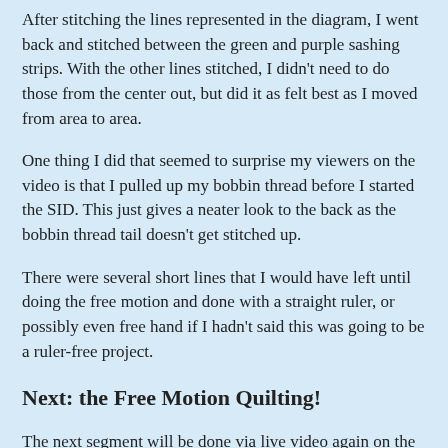After stitching the lines represented in the diagram, I went back and stitched between the green and purple sashing strips. With the other lines stitched, I didn't need to do those from the center out, but did it as felt best as I moved from area to area.
One thing I did that seemed to surprise my viewers on the video is that I pulled up my bobbin thread before I started the SID. This just gives a neater look to the back as the bobbin thread tail doesn't get stitched up.
There were several short lines that I would have left until doing the free motion and done with a straight ruler, or possibly even free hand if I hadn't said this was going to be a ruler-free project.
Next: the Free Motion Quilting!
The next segment will be done via live video again on the Amy's Quilting Adventures Facebook page on Wednesday September 26 around 7pm eastern time in the US. I will post the recording on the FB page too, so you can watch it later. We will get started with the free motion around the owls and I'm excited about it. Join us, won't you?